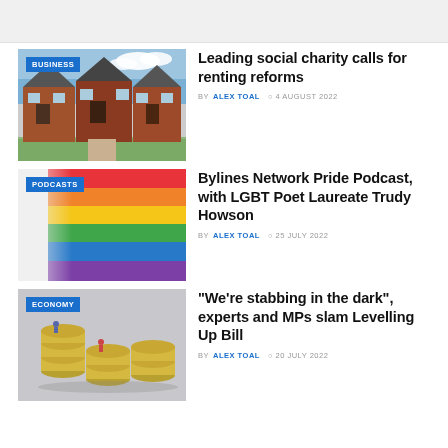[Figure (screenshot): Gray banner/advertisement area at top of page]
[Figure (photo): Photo of brick townhouses with blue sky, labeled BUSINESS category badge]
Leading social charity calls for renting reforms
BY ALEX TOAL  4 AUGUST 2022
[Figure (photo): Photo of rainbow Pride flag, labeled PODCASTS category badge]
Bylines Network Pride Podcast, with LGBT Poet Laureate Trudy Howson
BY ALEX TOAL  25 JULY 2022
[Figure (photo): Photo of miniature figures sitting on stacked coins, labeled ECONOMY category badge]
“We’re stabbing in the dark”, experts and MPs slam Levelling Up Bill
BY ALEX TOAL  20 JULY 2022